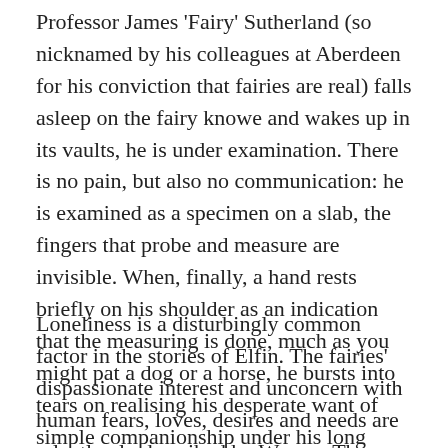Professor James 'Fairy' Sutherland (so nicknamed by his colleagues at Aberdeen for his conviction that fairies are real) falls asleep on the fairy knowe and wakes up in its vaults, he is under examination. There is no pain, but also no communication: he is examined as a specimen on a slab, the fingers that probe and measure are invisible. When, finally, a hand rests briefly on his shoulder as an indication that the measuring is done, much as you might pat a dog or a horse, he bursts into tears on realising his desperate want of simple companionship under his long ordeal. And his loneliness continues.
Loneliness is a disturbingly common factor in the stories of Elfin. The fairies' dispassionate interest and unconcern with human fears, loves, desires and needs are relentlessly described by Warner. They give expression to the desolation in her own heart, in which there was no hope, no respite from her existence